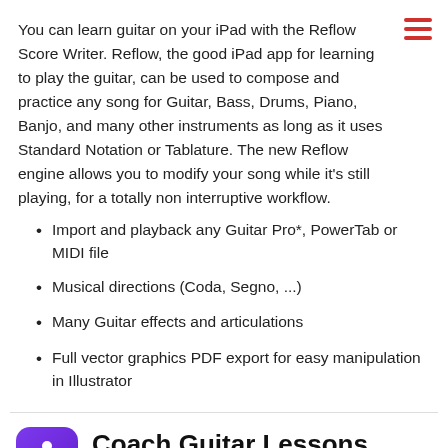You can learn guitar on your iPad with the Reflow Score Writer. Reflow, the good iPad app for learning to play the guitar, can be used to compose and practice any song for Guitar, Bass, Drums, Piano, Banjo, and many other instruments as long as it uses Standard Notation or Tablature. The new Reflow engine allows you to modify your song while it's still playing, for a totally non interruptive workflow.
Import and playback any Guitar Pro*, PowerTab or MIDI file
Musical directions (Coda, Segno, ...)
Many Guitar effects and articulations
Full vector graphics PDF export for easy manipulation in Illustrator
[Figure (logo): Coach Guitar Lessons tuner app icon — purple gradient background with white guitar player silhouette]
Coach Guitar Lessons tuner